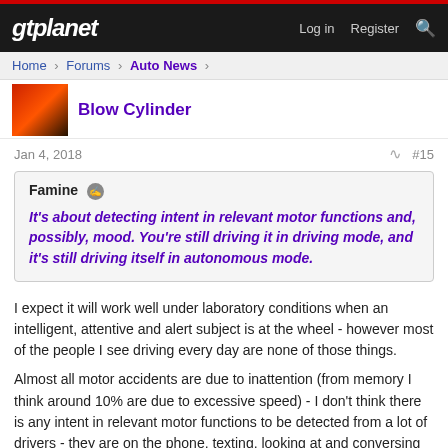gtplanet | Log in | Register
Home > Forums > Auto News >
[Figure (photo): User avatar thumbnail showing a reddish/orange flame-like image]
Blow Cylinder
Jan 4, 2018   #15
Famine
It's about detecting intent in relevant motor functions and, possibly, mood. You're still driving it in driving mode, and it's still driving itself in autonomous mode.
I expect it will work well under laboratory conditions when an intelligent, attentive and alert subject is at the wheel - however most of the people I see driving every day are none of those things.
Almost all motor accidents are due to inattention (from memory I think around 10% are due to excessive speed) - I don't think there is any intent in relevant motor functions to be detected from a lot of drivers - they are on the phone, texting, looking at and conversing with a passenger, putting on makeup, shaving, combing their hair, looking at maps, fiddling with the satnav and generally doing